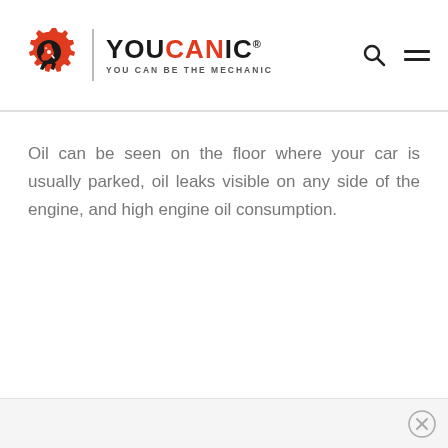[Figure (logo): YOUCANIC logo with gear and wrench icon, brand name and tagline YOU CAN BE THE MECHANIC]
Oil can be seen on the floor where your car is usually parked, oil leaks visible on any side of the engine, and high engine oil consumption.